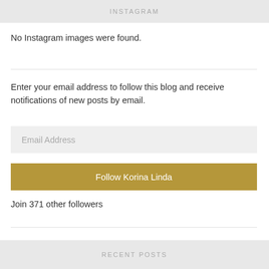INSTAGRAM
No Instagram images were found.
Enter your email address to follow this blog and receive notifications of new posts by email.
Email Address
Follow Korina Linda
Join 371 other followers
RECENT POSTS